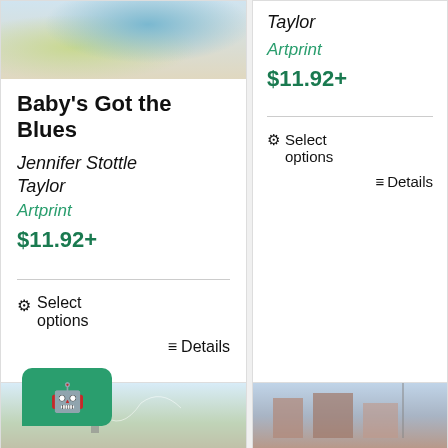[Figure (photo): Partial view of painting with blue and green tones, top of left card]
Baby's Got the Blues
Jennifer Stottle Taylor
Artprint
$11.92+
Select options
Details
Taylor
Artprint
$11.92+
Select options
Details
[Figure (photo): Partial painting of landscape with sky/church, bottom left]
[Figure (photo): Partial painting of buildings/bridge scene, bottom right]